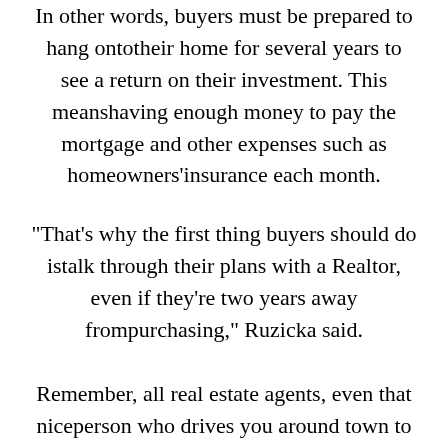In other words, buyers must be prepared to hang ontotheir home for several years to see a return on their investment. This meanshaving enough money to pay the mortgage and other expenses such as homeowners'insurance each month.
"That's why the first thing buyers should do istalk through their plans with a Realtor, even if they're two years away frompurchasing," Ruzicka said.
Remember, all real estate agents, even that niceperson who drives you around town to see any number of homes, work for theseller unless